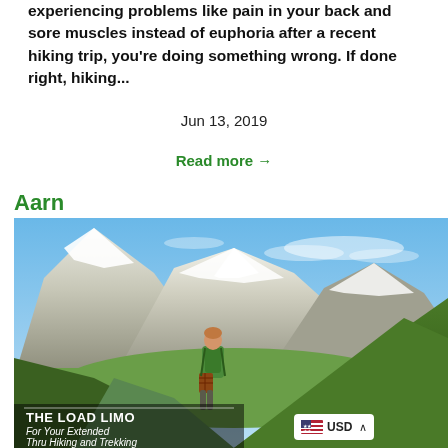experiencing problems like pain in your back and sore muscles instead of euphoria after a recent hiking trip, you're doing something wrong. If done right, hiking...
Jun 13, 2019
Read more →
Aarn
[Figure (photo): Hiker with green backpack standing on a mountain trail overlooking snow-capped peaks and green valleys. Image contains overlay text: 'THE LOAD LIMO - For Your Extended Thru Hiking and Trekking' and a USD currency badge.]